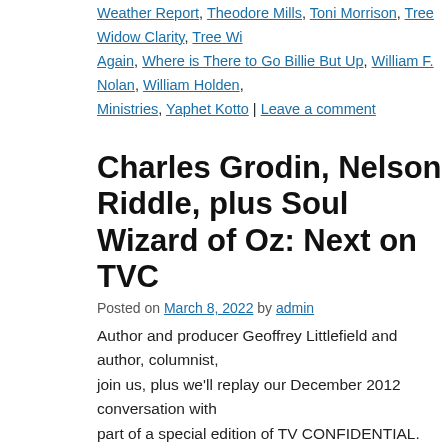Weather Report, Theodore Mills, Toni Morrison, Tree Widow Clarity, Tree Wid... Again, Where is There to Go Billie But Up, William F. Nolan, William Holden, ... Ministries, Yaphet Kotto | Leave a comment
Charles Grodin, Nelson Riddle, plus Sou... Wizard of Oz: Next on TVC
Posted on March 8, 2022 by admin
Author and producer Geoffrey Littlefield and author, columnist, join us, plus we'll replay our December 2012 conversation with part of a special edition of TV CONFIDENTIAL. Airing Mar. 1
Posted in Celebrities, Classic Shows, Film Stars, Next Show, Radio Stations, Jr., 60 Minutes 2, acting schools, ad writer, African safari Johnny Carson, App... Batman 1966 movie, Batman 1966 movie fight scenes, Batman 1966 movie s... Catch-22, CBS radio, centennial birthday of Nelson Riddle, Charles Grodin, C... Grodin Andy Rooney, Charles Grodin Beethoven, Charles Grodin CBS radio, Cybill Shepherd, Charles Grodin daily commentaries, Charles Grodin Dennis... Grodin instructional DVD, Charles Grodin Jane Fonda, Charles Grodin John... Charles Grodin Lend a Hand foundation, Charles Grodin Midnight Run, Char... Pittsburgh Playhouse, Charles Grodin prison advocacy, Charles Grodin Robe...